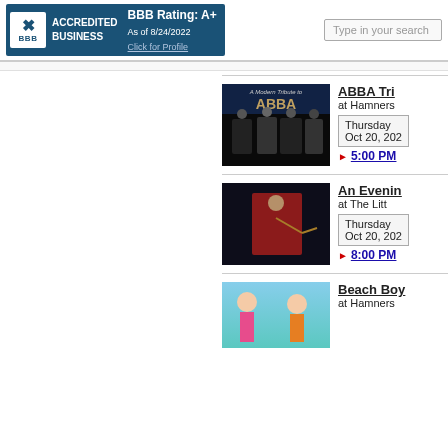[Figure (logo): BBB Accredited Business badge with rating A+ as of 8/24/2022, Click for Profile]
Type in your search
[Figure (photo): A Modern Tribute to ABBA - group photo of performers in black outfits on dark background]
ABBA Tri
at Hamners
Thursday
Oct 20, 202
5:00 PM
[Figure (photo): Musician playing violin in red suit jacket]
An Evenin
at The Litt
Thursday
Oct 20, 202
8:00 PM
[Figure (photo): Beach Boys performers - two women in swimsuits]
Beach Boy
at Hamners